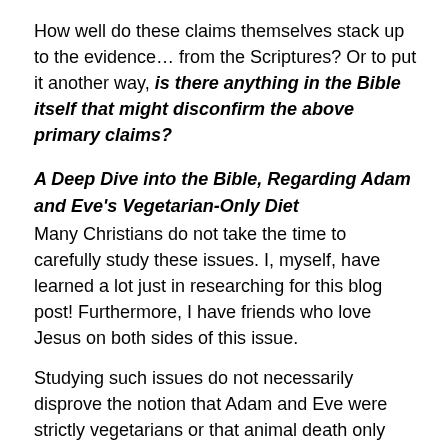How well do these claims themselves stack up to the evidence… from the Scriptures? Or to put it another way, is there anything in the Bible itself that might disconfirm the above primary claims?
A Deep Dive into the Bible, Regarding Adam and Eve's Vegetarian-Only Diet
Many Christians do not take the time to carefully study these issues. I, myself, have learned a lot just in researching for this blog post! Furthermore, I have friends who love Jesus on both sides of this issue.
Studying such issues do not necessarily disprove the notion that Adam and Eve were strictly vegetarians or that animal death only came about as a result of human sin. Rather, such issues do raise questions that are often not considered. Dr. Joseph R. Nally, Jr., at Third Millennium